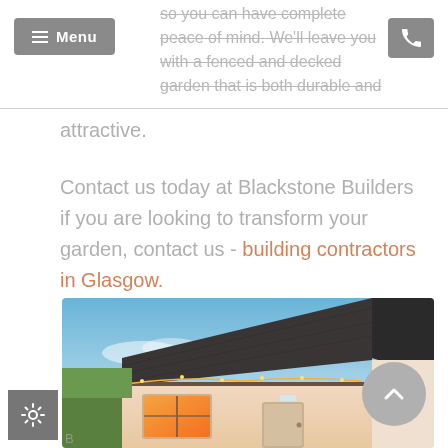so you can have complete peace of mind. We'll leave you with a fenced and decked garden that is both durable and attractive.
Contact us today at Blackstone Builders if you are looking to transform your garden, contact us - building contractors in Glasgow.
[Figure (photo): Photo of a house exterior showing a tiled roof, white walls, windows with warm interior light, a door, and a garden with trees in the background at dusk.]